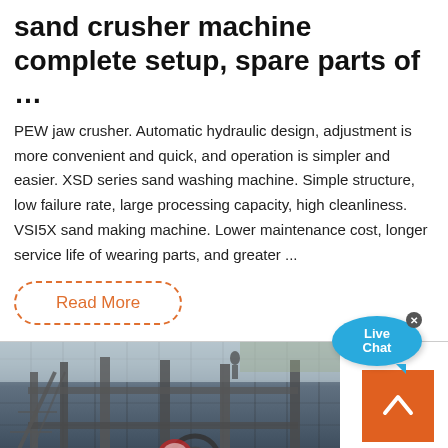sand crusher machine complete setup, spare parts of …
PEW jaw crusher. Automatic hydraulic design, adjustment is more convenient and quick, and operation is simpler and easier. XSD series sand washing machine. Simple structure, low failure rate, large processing capacity, high cleanliness. VSI5X sand making machine. Lower maintenance cost, longer service life of wearing parts, and greater ...
Read More
[Figure (photo): Industrial sand crusher machine setup — outdoor photo showing heavy steel frame structure, conveyor equipment, and machinery at a quarry or industrial site.]